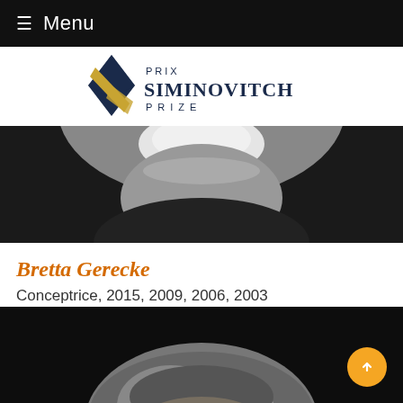≡ Menu
[Figure (logo): Prix Siminovitch Prize logo with geometric diamond shape in navy and gold]
[Figure (photo): Black and white close-up photo of a smiling person wearing dark clothing]
Bretta Gerecke
Conceptrice, 2015, 2009, 2006, 2003
[Figure (photo): Black and white photo showing top of a man's head with grey hair against dark background]